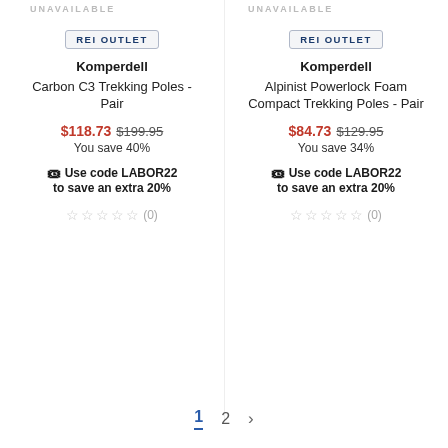UNAVAILABLE
UNAVAILABLE
REI OUTLET
Komperdell Carbon C3 Trekking Poles - Pair
$118.73 $199.95 You save 40%
Use code LABOR22 to save an extra 20%
☆☆☆☆☆ (0)
REI OUTLET
Komperdell Alpinist Powerlock Foam Compact Trekking Poles - Pair
$84.73 $129.95 You save 34%
Use code LABOR22 to save an extra 20%
☆☆☆☆☆ (0)
1  2  >